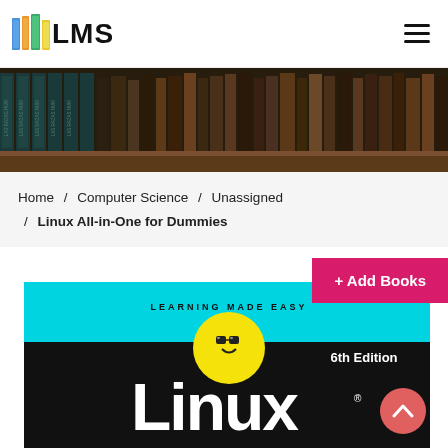LMS
[Figure (photo): Bookshelf banner showing rows of books with spines labeled 'LAS RAZAS HUM' and other titles]
Home / Computer Science / Unassigned / Linux All-in-One for Dummies
[Figure (photo): Book cover for 'Linux All-in-One for Dummies, 6th Edition' — Learning Made Easy series, cyan and black cover with the Dummies mascot logo]
+ Add Books